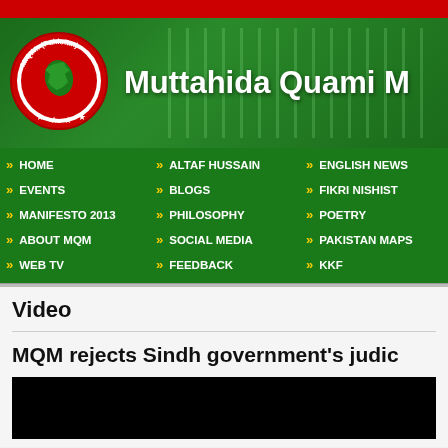[Figure (logo): Red top navigation bar]
[Figure (logo): MQM (Pakistan) header banner with logo circle showing Pakistan map and 'Muttahida Quami M' text on green background]
HOME
ALTAF HUSSAIN
ENGLISH NEWS
EVENTS
BLOGS
FIKRI NISHIST
MANIFESTO 2013
PHILOSOPHY
POETRY
ABOUT MQM
SOCIAL MEDIA
PAKISTAN MAPS
WEB TV
FEEDBACK
KKF
Video
MQM rejects Sindh government's judic
[Figure (screenshot): Black video thumbnail]